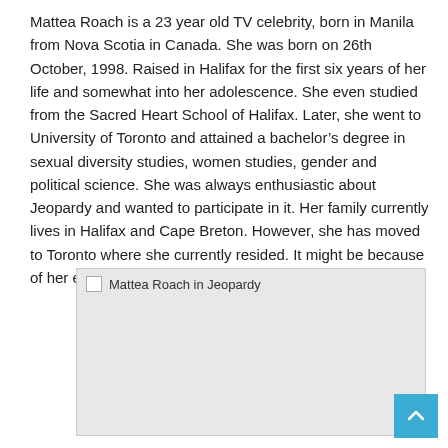Mattea Roach is a 23 year old TV celebrity, born in Manila from Nova Scotia in Canada. She was born on 26th October, 1998. Raised in Halifax for the first six years of her life and somewhat into her adolescence. She even studied from the Sacred Heart School of Halifax. Later, she went to University of Toronto and attained a bachelor's degree in sexual diversity studies, women studies, gender and political science. She was always enthusiastic about Jeopardy and wanted to participate in it. Her family currently lives in Halifax and Cape Breton. However, she has moved to Toronto where she currently resided. It might be because of her education.
[Figure (photo): Broken image placeholder labeled 'Mattea Roach in Jeopardy' shown as a grey rectangle with image alt text]